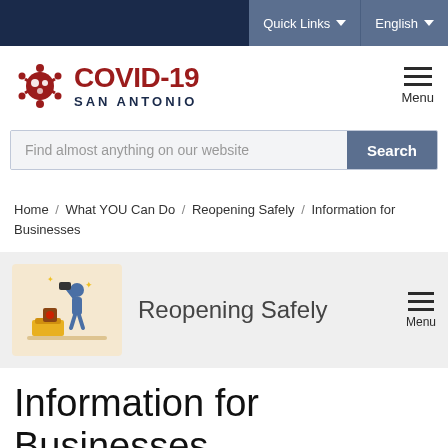Quick Links   English
[Figure (logo): COVID-19 San Antonio logo with red coronavirus icon and text]
Find almost anything on our website   Search
Home / What YOU Can Do / Reopening Safely / Information for Businesses
[Figure (illustration): Illustration of a person hammering something, with 'Reopening Safely' section heading and Menu button]
Information for Businesses